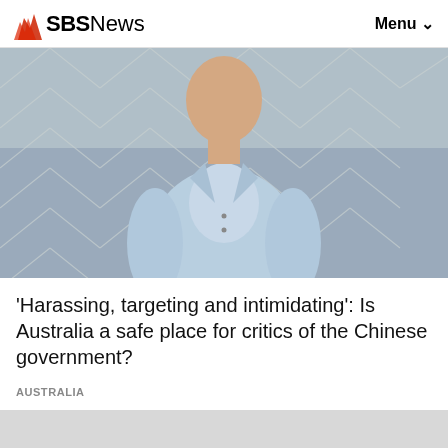SBS News  Menu
[Figure (photo): Young Asian person wearing a light blue button-up shirt, standing in front of a chain-link fence, looking at the camera]
'Harassing, targeting and intimidating': Is Australia a safe place for critics of the Chinese government?
AUSTRALIA
[Figure (logo): SBS logo watermark on grey background — second article preview]